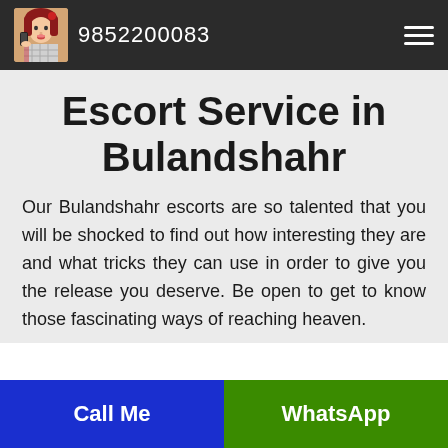9852200083
Escort Service in Bulandshahr
Our Bulandshahr escorts are so talented that you will be shocked to find out how interesting they are and what tricks they can use in order to give you the release you deserve. Be open to get to know those fascinating ways of reaching heaven.
Call Me | WhatsApp